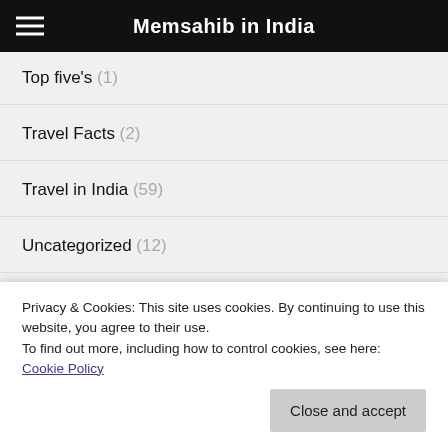Memsahib in India
Top five's (1)
Travel Facts (2)
Travel in India (59)
Uncategorized (12)
Wellness & Wellbeing (9)
Wildlife (32)
Privacy & Cookies: This site uses cookies. By continuing to use this website, you agree to their use.
To find out more, including how to control cookies, see here: Cookie Policy
Close and accept